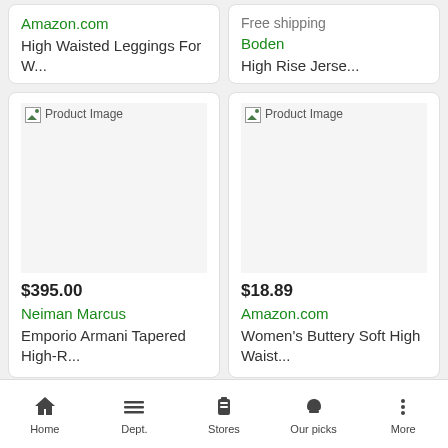Amazon.com
High Waisted Leggings For W...
Free shipping
Boden
High Rise Jerse...
[Figure (photo): Product image placeholder (broken image icon) for Emporio Armani Tapered High-R...]
$395.00
Neiman Marcus
Emporio Armani Tapered High-R...
[Figure (photo): Product image placeholder (broken image icon) for Women's Buttery Soft High Waist...]
$18.89
Amazon.com
Women's Buttery Soft High Waist...
View all products
Home  Dept.  Stores  Our picks  More